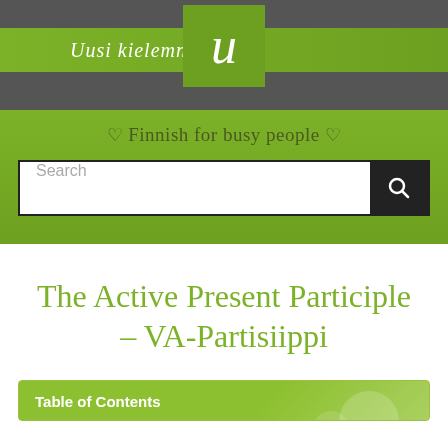Uusi kielemn
♡ Finnish for busy people ♡
Search
The Active Present Participle – VA-Partisiippi
Table of Contents